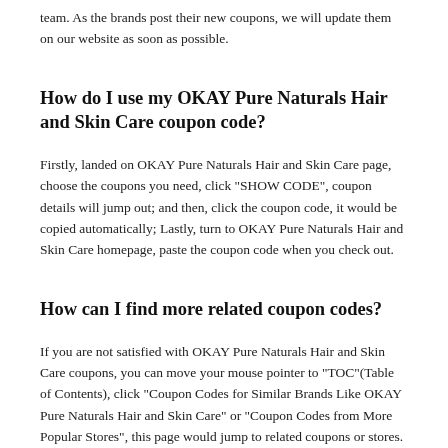team. As the brands post their new coupons, we will update them on our website as soon as possible.
How do I use my OKAY Pure Naturals Hair and Skin Care coupon code?
Firstly, landed on OKAY Pure Naturals Hair and Skin Care page, choose the coupons you need, click "SHOW CODE", coupon details will jump out; and then, click the coupon code, it would be copied automatically; Lastly, turn to OKAY Pure Naturals Hair and Skin Care homepage, paste the coupon code when you check out.
How can I find more related coupon codes?
If you are not satisfied with OKAY Pure Naturals Hair and Skin Care coupons, you can move your mouse pointer to "TOC"(Table of Contents), click "Coupon Codes for Similar Brands Like OKAY Pure Naturals Hair and Skin Care" or "Coupon Codes from More Popular Stores", this page would jump to related coupons or stores.